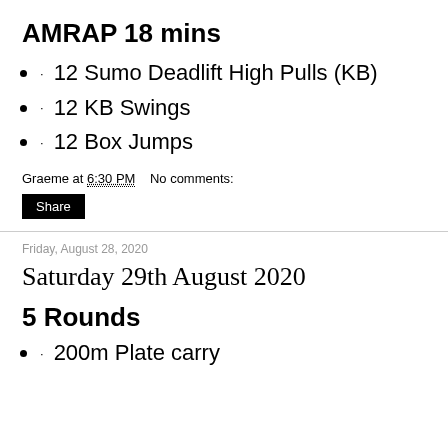AMRAP 18 mins
· 12 Sumo Deadlift High Pulls (KB)
· 12 KB Swings
· 12 Box Jumps
Graeme at 6:30 PM    No comments:
Share
Friday, August 28, 2020
Saturday 29th August 2020
5 Rounds
· 200m Plate carry